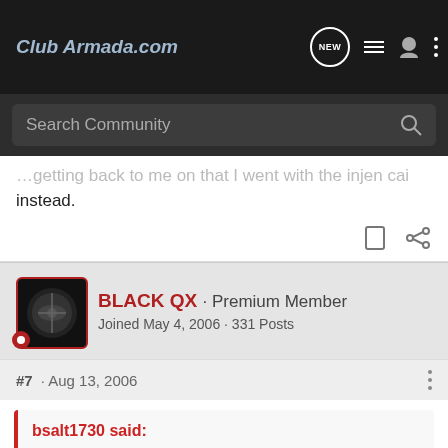ClubArmada.com
Search Community
instead.
BLACK QX · Premium Member
Joined May 4, 2006 · 331 Posts
#7 · Aug 13, 2006
bsalt1730 said:
Thanks for getting back to me on that I went with the injen cai instead.